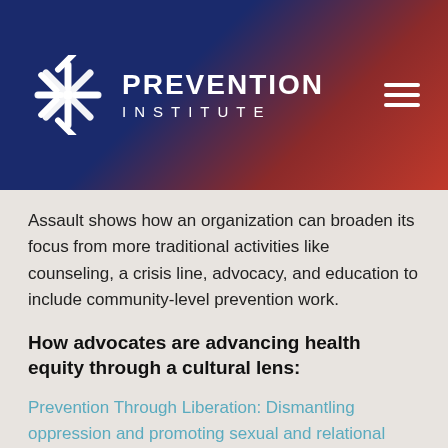[Figure (logo): Prevention Institute logo with white snowflake/asterisk icon and text PREVENTION INSTITUTE on dark blue to red gradient background header with hamburger menu icon]
Assault shows how an organization can broaden its focus from more traditional activities like counseling, a crisis line, advocacy, and education to include community-level prevention work.
How advocates are advancing health equity through a cultural lens:
Prevention Through Liberation: Dismantling oppression and promoting sexual and relational health in Oregon: The Oregon Coalition Against Sexual and Domestic Violence works with communities to cultivate anti-oppressive practices that support violence prevention